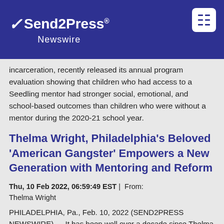Send2Press Newswire
incarceration, recently released its annual program evaluation showing that children who had access to a Seedling mentor had stronger social, emotional, and school-based outcomes than children who were without a mentor during the 2020-21 school year.
Thelma Wright, Philadelphia's Beloved 'American Gangster' Empowers a New Generation with Mentoring and Reform
Thu, 10 Feb 2022, 06:59:49 EST | From: Thelma Wright
PHILADELPHIA, Pa., Feb. 10, 2022 (SEND2PRESS NEWSWIRE) — It has been well over a decade since Thelma Wright, once reputed to be one of the most dangerous and powerful Black women in Philadelphia, came to the